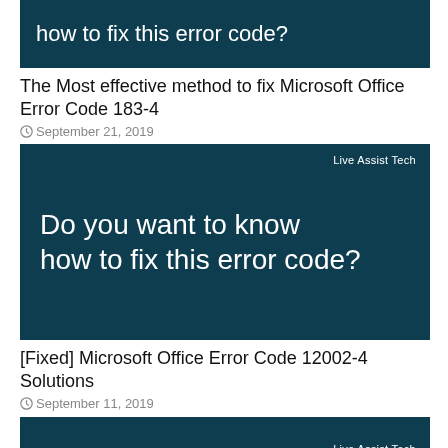[Figure (screenshot): Dark teal card with white text: 'Do you want to know how to fix this error code?' (partially cropped at top)]
The Most effective method to fix Microsoft Office Error Code 183-4
September 21, 2019
[Figure (screenshot): Dark teal card with white text: 'Do you want to know how to fix this error code?' and 'Live Assist Tech' branding in top right]
[Fixed] Microsoft Office Error Code 12002-4 Solutions
September 11, 2019
[Figure (screenshot): Dark teal card partially visible at bottom with 'Live Assist Tech' branding]